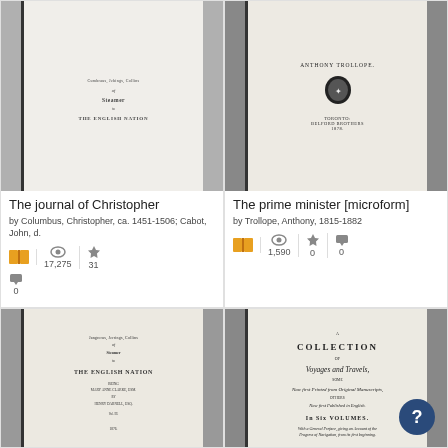[Figure (screenshot): Book card: The journal of Christopher, book cover image showing old title page]
The journal of Christopher
by Columbus, Christopher, ca. 1451-1506; Cabot, John, d.
17,275  31  0
[Figure (screenshot): Book card: The prime minister [microform], cover showing ANTHONY TROLLOPE, BELFORD BROTHERS publisher, with emblem]
The prime minister [microform]
by Trollope, Anthony, 1815-1882
1,590  0  0
[Figure (screenshot): Book card bottom left: THE ENGLISH NATION book cover, old title page]
[Figure (screenshot): Book card bottom right: A COLLECTION of Voyages and Travels, Now first Printed from Original Manuscripts, In Six VOLUMES]